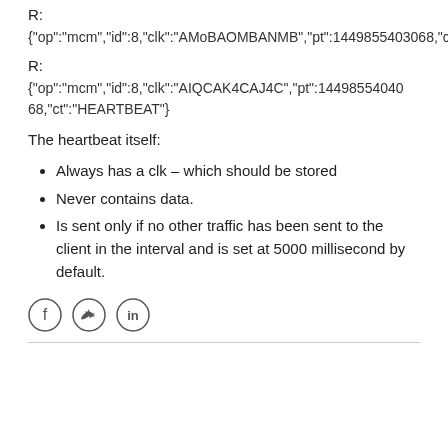R:
{"op":"mcm","id":8,"clk":"AMoBAOMBANMB","pt":14498554030​68,"ct":"HEARTBEAT"}
R:
{"op":"mcm","id":8,"clk":"AIQCAK4CAJ4C","pt":1449855404068,"ct":"HEARTBEAT"}
The heartbeat itself:
Always has a clk – which should be stored
Never contains data.
Is sent only if no other traffic has been sent to the client in the interval and is set at 5000 millisecond by default.
[Figure (illustration): Social media icons: Facebook, Twitter, LinkedIn]